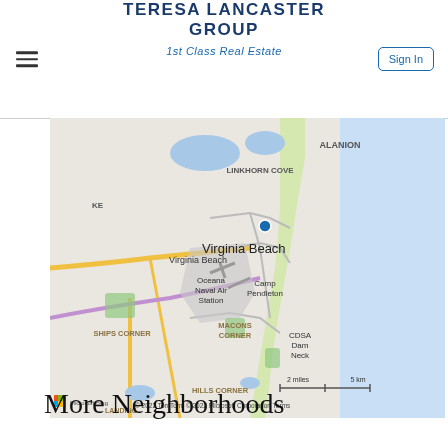TERESA LANCASTER GROUP
1st Class Real Estate
[Figure (map): Map of Virginia Beach area showing Linkhorn Cove, Oceana Naval Air Station, Camp Pendleton, CDSA Dam Neck, Macons Corner, Ships Corner, Hills Corner neighborhoods, with a blue location pin marker, scale bar showing 2 miles / 5 km, Microsoft Bing map attribution, © 2022 TomTom, © 2022 Microsoft Corporation, Terms]
More Neighborhoods